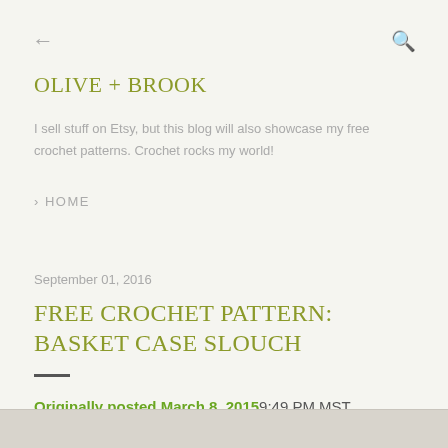← (back) Q (search)
OLIVE + BROOK
I sell stuff on Etsy, but this blog will also showcase my free crochet patterns. Crochet rocks my world!
› HOME
September 01, 2016
FREE CROCHET PATTERN: BASKET CASE SLOUCH
Originally posted March 8, 20159:49 PM MST
[Figure (photo): Bottom strip showing partial image, appears to be a crochet hat photo]